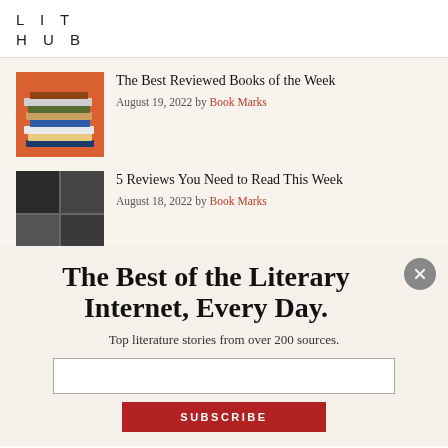LIT HUB
The Best Reviewed Books of the Week
August 19, 2022 by Book Marks
5 Reviews You Need to Read This Week
August 18, 2022 by Book Marks
The Best Reviewed Books of
The Best of the Literary Internet, Every Day.
Top literature stories from over 200 sources.
SUBSCRIBE